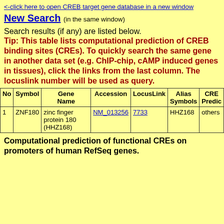<-click here to open CREB target gene database in a new window
New Search (in the same window)
Search results (if any) are listed below.
Tip: This table lists computational prediction of CREB binding sites (CREs). To quickly search the same gene in another data set (e.g. ChIP-chip, cAMP induced genes in tissues), click the links from the last column. The locuslink number will be used as query.
| No | Symbol | Gene Name | Accession | LocusLink | Alias Symbols | CRE Predic |
| --- | --- | --- | --- | --- | --- | --- |
| 1 | ZNF180 | zinc finger protein 180 (HHZ168) | NM_013256 | 7733 | HHZ168 | others |
Computational prediction of functional CREs on promoters of human RefSeq genes.